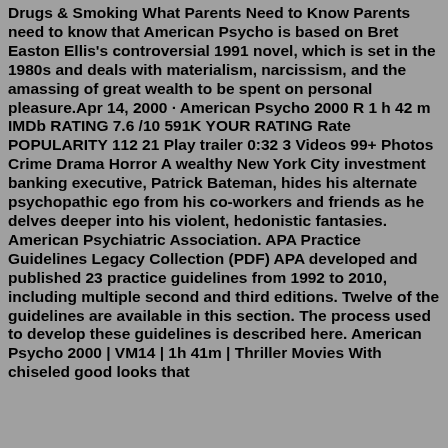Drugs & Smoking What Parents Need to Know Parents need to know that American Psycho is based on Bret Easton Ellis's controversial 1991 novel, which is set in the 1980s and deals with materialism, narcissism, and the amassing of great wealth to be spent on personal pleasure.Apr 14, 2000 · American Psycho 2000 R 1 h 42 m IMDb RATING 7.6 /10 591K YOUR RATING Rate POPULARITY 112 21 Play trailer 0:32 3 Videos 99+ Photos Crime Drama Horror A wealthy New York City investment banking executive, Patrick Bateman, hides his alternate psychopathic ego from his co-workers and friends as he delves deeper into his violent, hedonistic fantasies. American Psychiatric Association. APA Practice Guidelines Legacy Collection (PDF) APA developed and published 23 practice guidelines from 1992 to 2010, including multiple second and third editions. Twelve of the guidelines are available in this section. The process used to develop these guidelines is described here. American Psycho 2000 | VM14 | 1h 41m | Thriller Movies With chiseled good looks that